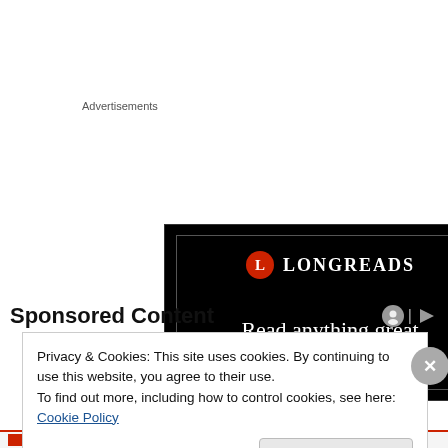Advertisements
[Figure (logo): Longreads advertisement banner on black background with logo and text 'Read anything great lately?']
Sponsored Content
Privacy & Cookies: This site uses cookies. By continuing to use this website, you agree to their use.
To find out more, including how to control cookies, see here: Cookie Policy
Close and accept